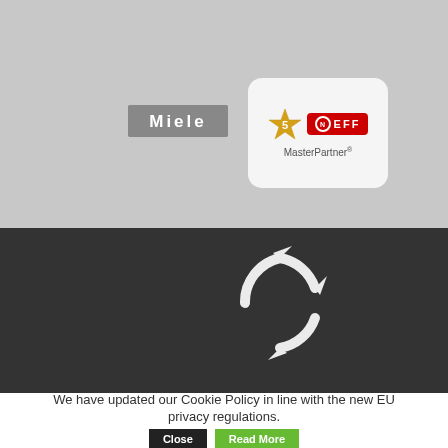[Figure (logo): Miele logo - grey rectangular badge with white bold text 'Miele']
[Figure (logo): NEFF MasterPartner badge - white rounded rectangle with gold star '5', red NEFF logo box, and text 'MasterPartner®' below]
[Figure (logo): Kitchen ergonomics logo with circular arrow icon, white text 'kitchen ergonomics' and italic subtitle 'combining design with efficiency in your home' on dark background]
We have updated our Cookie Policy in line with the new EU privacy regulations.
Close
Read More